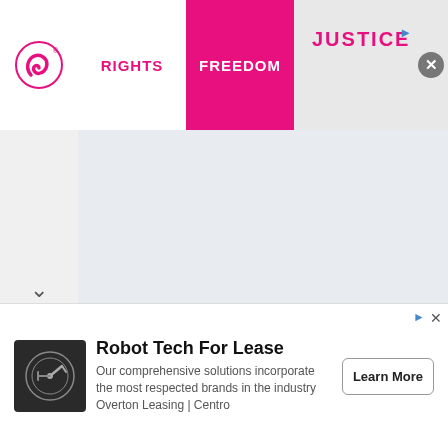[Figure (logo): Planned Parenthood logo - pink loop/ribbon icon with registered trademark symbol]
RIGHTS
FREEDOM
JUSTICE
erfileslikeyouwouldd
[Figure (logo): Robot arm icon in dark square box]
Robot Tech For Lease
Our comprehensive solutions incorporate the most respected brands in the industry Overton Leasing | Centro
Learn More